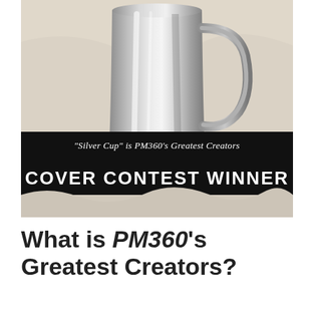[Figure (photo): A silver metallic pitcher/cup sitting on a crumpled white fabric or cloth background. The image has a black banner overlay across the middle showing contest winner text.]
What is PM360's Greatest Creators?